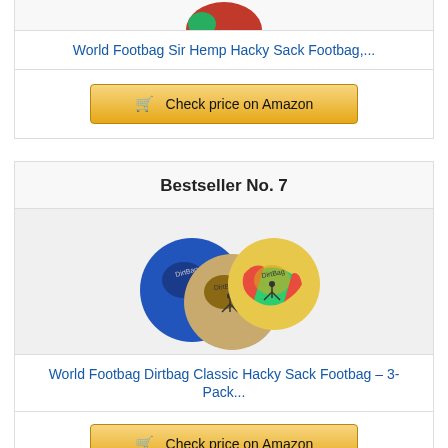[Figure (photo): Partial image of a colorful hacky sack footbag at the top of the page]
World Footbag Sir Hemp Hacky Sack Footbag,...
[Figure (other): Check price on Amazon button (top)]
Bestseller No. 7
[Figure (photo): Three Dirtbag Classic hacky sack footbags — blue, tan/brown, and multicolor]
World Footbag Dirtbag Classic Hacky Sack Footbag – 3-Pack...
[Figure (other): Check price on Amazon button (bottom)]